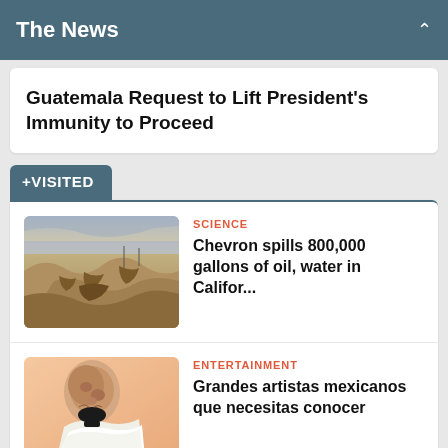The News
Guatemala Request to Lift President's Immunity to Proceed
+VISITED
SCIENCE
Chevron spills 800,000 gallons of oil, water in Califor...
[Figure (photo): Aerial or landscape view of dry eroded canyon terrain with winding dry riverbed, desert environment]
ENTERTAINMENT
Grandes artistas mexicanos que necesitas conocer
[Figure (photo): Man in white suit with black bow tie, portrait style photo with warm/peach background]